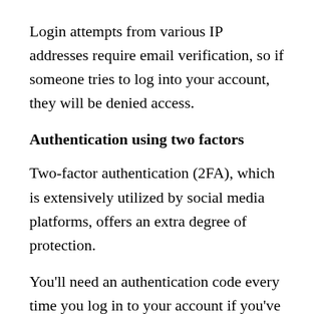Login attempts from various IP addresses require email verification, so if someone tries to log into your account, they will be denied access.
Authentication using two factors
Two-factor authentication (2FA), which is extensively utilized by social media platforms, offers an extra degree of protection.
You'll need an authentication code every time you log in to your account if you've activated 2FA with Google authenticator or Authy.
Streamer Mode
For streamers, Discord includes a mode that hides critical